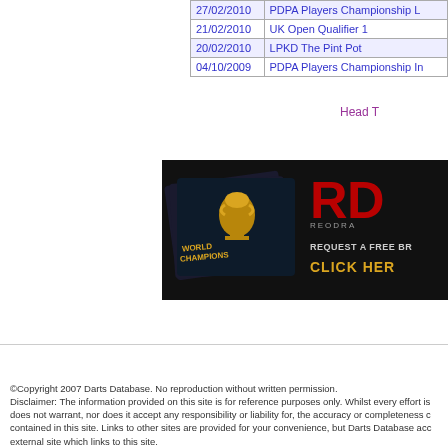| Date | Tournament |
| --- | --- |
| 27/02/2010 | PDPA Players Championship L... |
| 21/02/2010 | UK Open Qualifier 1 |
| 20/02/2010 | LPKD The Pint Pot |
| 04/10/2009 | PDPA Players Championship In... |
Head T...
[Figure (photo): Red Dragon darts advertisement banner showing World Champions brochure covers and text 'REQUEST A FREE BR... CLICK HER...']
©Copyright 2007 Darts Database. No reproduction without written permission. Disclaimer: The information provided on this site is for reference purposes only. Whilst every effort is does not warrant, nor does it accept any responsibility or liability for, the accuracy or completeness c contained in this site. Links to other sites are provided for your convenience, but Darts Database acc external site which links to this site.